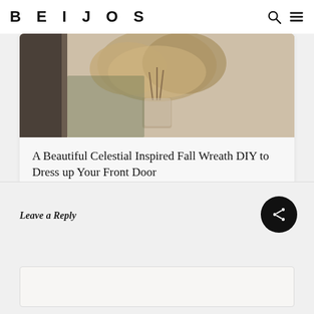BEIJOS
[Figure (photo): Photo of dried floral arrangement in vase, visible through a doorway or window with dark door frame, warm neutral tones]
A Beautiful Celestial Inspired Fall Wreath DIY to Dress up Your Front Door
Leave a Reply